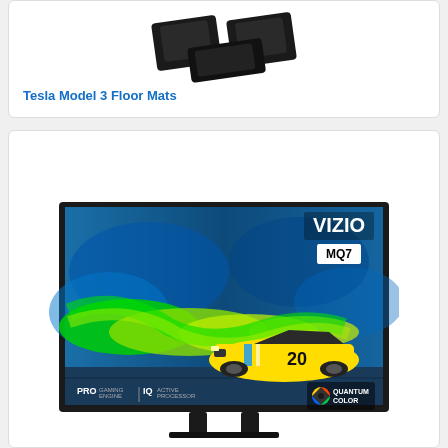[Figure (photo): Black Tesla Model 3 floor mats set, shown from above at an angle on white background]
Tesla Model 3 Floor Mats
[Figure (photo): VIZIO MQ7 series TV displaying a yellow race car (number 20) surrounded by blue and green color effects. Bottom left shows PRO GAMING ENGINE | IQ ACTIVE PROCESSOR logos, bottom right shows QUANTUM COLOR logo with VIZIO branding.]